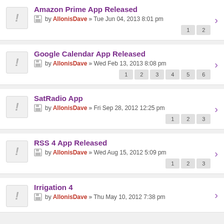Amazon Prime App Released by AllonisDave » Tue Jun 04, 2013 8:01 pm  pages: 1 2
Google Calendar App Released by AllonisDave » Wed Feb 13, 2013 8:08 pm  pages: 1 2 3 4 5 6
SatRadio App by AllonisDave » Fri Sep 28, 2012 12:25 pm  pages: 1 2 3
RSS 4 App Released by AllonisDave » Wed Aug 15, 2012 5:09 pm  pages: 1 2 3
Irrigation 4 by AllonisDave » Thu May 10, 2012 7:38 pm